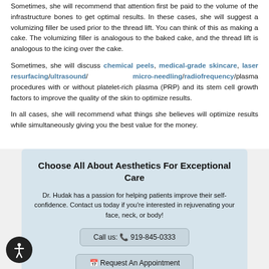Sometimes, she will recommend that attention first be paid to the volume of the infrastructure bones to get optimal results. In these cases, she will suggest a volumizing filler be used prior to the thread lift. You can think of this as making a cake. The volumizing filler is analogous to the baked cake, and the thread lift is analogous to the icing over the cake.
Sometimes, she will discuss chemical peels, medical-grade skincare, laser resurfacing/ultrasound/ micro-needling/radiofrequency/plasma procedures with or without platelet-rich plasma (PRP) and its stem cell growth factors to improve the quality of the skin to optimize results.
In all cases, she will recommend what things she believes will optimize results while simultaneously giving you the best value for the money.
Choose All About Aesthetics For Exceptional Care
Dr. Hudak has a passion for helping patients improve their self-confidence. Contact us today if you're interested in rejuvenating your face, neck, or body!
Call us: 📞 919-845-0333
🗓 Request An Appointment